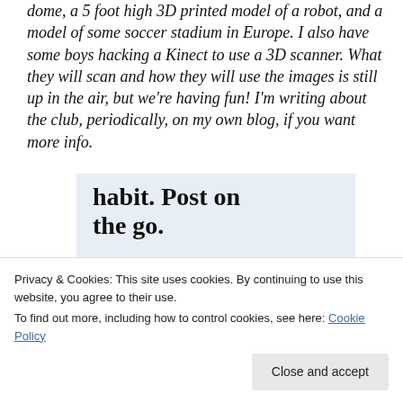dome, a 5 foot high 3D printed model of a robot, and a model of some soccer stadium in Europe.  I also have some boys hacking a Kinect to use a 3D scanner.  What they will scan and how they will use the images is still up in the air, but we're having fun!  I'm writing about the club, periodically, on my own blog, if you want more info.
[Figure (other): WordPress advertisement banner with light blue background showing text 'habit. Post on the go.' and 'GET THE APP' with WordPress logo icon]
Privacy & Cookies: This site uses cookies. By continuing to use this website, you agree to their use.
To find out more, including how to control cookies, see here: Cookie Policy